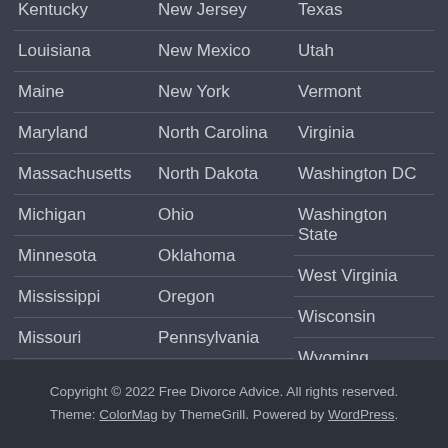Kentucky
New Jersey
Texas
Louisiana
New Mexico
Utah
Maine
New York
Vermont
Maryland
North Carolina
Virginia
Massachusetts
North Dakota
Washington DC
Michigan
Ohio
Washington State
Minnesota
Oklahoma
West Virginia
Mississippi
Oregon
Wisconsin
Missouri
Pennsylvania
Wyoming
Montana
Rhode Island
Copyright © 2022 Free Divorce Advice. All rights reserved. Theme: ColorMag by ThemeGrill. Powered by WordPress.